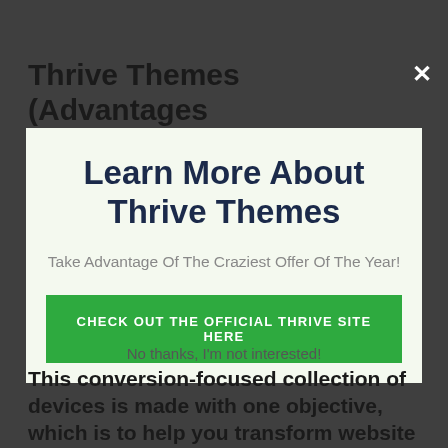Thrive Themes (Advantages
[Figure (screenshot): Modal popup with close X button, title 'Learn More About Thrive Themes', subtitle 'Take Advantage Of The Craziest Offer Of The Year!', green CTA button 'CHECK OUT THE OFFICIAL THRIVE SITE HERE']
No thanks, I'm not interested!
This conversion-focused collection of devices is made with one objective, which is to help you transform website site visitors right into